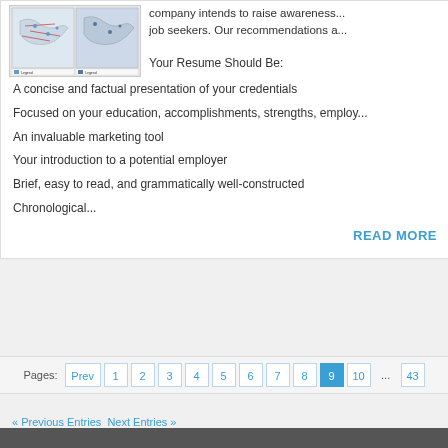[Figure (map): Two side-by-side geographical maps with red and blue markings, with a small legend below]
company intends to raise awareness... job seekers. Our recommendations a...
Your Resume Should Be:
A concise and factual presentation of your credentials
Focused on your education, accomplishments, strengths, employ...
An invaluable marketing tool
Your introduction to a potential employer
Brief, easy to read, and grammatically well-constructed
Chronological...
READ MORE
Pages: Prev 1 2 3 4 5 6 7 8 9 10 ... 43
« Previous Entries  Next Entries »